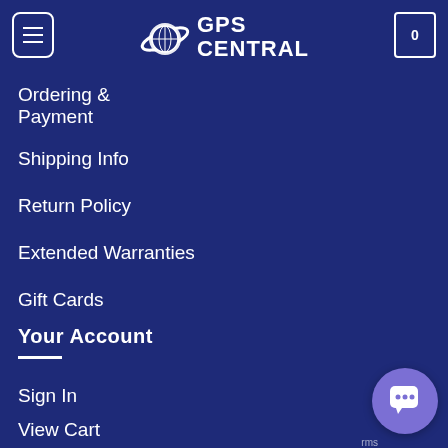GPS CENTRAL
Ordering & Payment
Shipping Info
Return Policy
Extended Warranties
Gift Cards
Your Account
Sign In
View Cart
Return Authorization